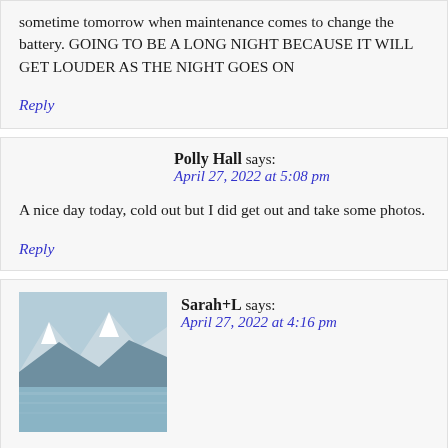sometime tomorrow when maintenance comes to change the battery. GOING TO BE A LONG NIGHT BECAUSE IT WILL GET LOUDER AS THE NIGHT GOES ON
Reply
Polly Hall says: April 27, 2022 at 5:08 pm
A nice day today, cold out but I did get out and take some photos.
Reply
Sarah+L says: April 27, 2022 at 4:16 pm
[Figure (photo): Mountain landscape with snow-capped peaks and water in foreground]
Lovely surprise today. The Zoom thing I did yesterday sent me $100 not the $50 I was expecting, so I'm very happy. This evening I have a th about doing volunteer computer work for the elections
[Figure (logo): GoDaddy Verified & Secured badge]